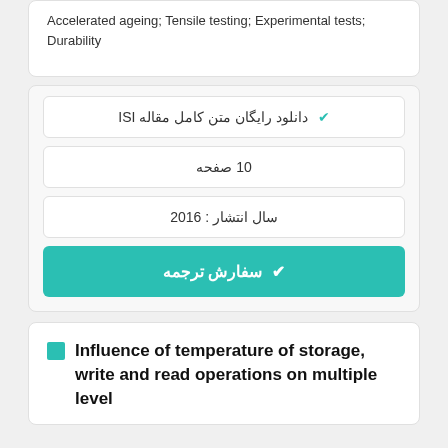Accelerated ageing; Tensile testing; Experimental tests; Durability
دانلود رایگان متن کامل مقاله ISI
10 صفحه
سال انتشار : 2016
سفارش ترجمه
Influence of temperature of storage, write and read operations on multiple level cell NAND flash memory